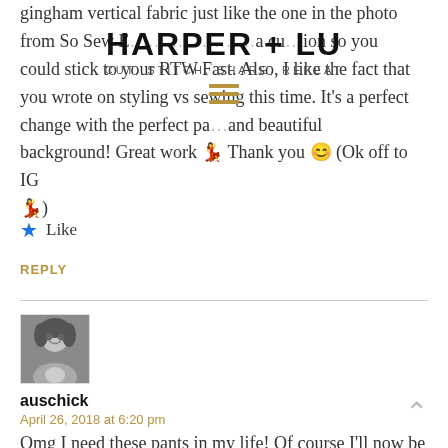HARPER + LU
CUT, STITCH, SHARE, REPEAT
gingham vertical fabric just like the one in the photo from So Sew E… a custom option so you could stick to your RTW Fast. Also, I like the fact that you wrote on styling vs sewing this time. It's a perfect change with the perfect pa… and beautiful background! Great work 💃 Thank you 😊 (Ok off to IG 💃)
Like
REPLY
auschick
April 26, 2018 at 6:20 pm
Omg I need these pants in my life! Of course I'll now be